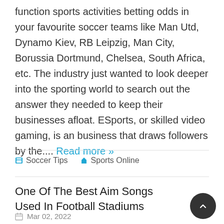function sports activities betting odds in your favourite soccer teams like Man Utd, Dynamo Kiev, RB Leipzig, Man City, Borussia Dortmund, Chelsea, South Africa, etc. The industry just wanted to look deeper into the sporting world to search out the answer they needed to keep their businesses afloat. ESports, or skilled video gaming, is an business that draws followers by the.... Read more »
Soccer Tips
Sports Online
One Of The Best Aim Songs Used In Football Stadiums
Mar 02, 2022